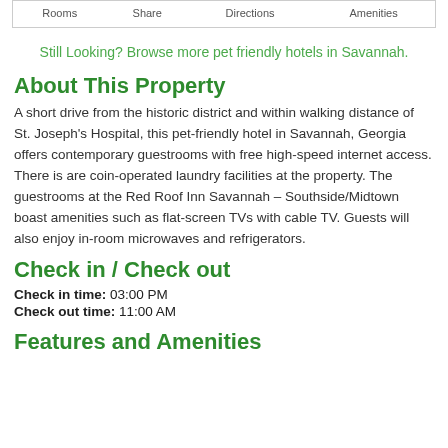| Rooms | Share | Directions | Amenities |
| --- | --- | --- | --- |
Still Looking? Browse more pet friendly hotels in Savannah.
About This Property
A short drive from the historic district and within walking distance of St. Joseph's Hospital, this pet-friendly hotel in Savannah, Georgia offers contemporary guestrooms with free high-speed internet access. There is are coin-operated laundry facilities at the property. The guestrooms at the Red Roof Inn Savannah – Southside/Midtown boast amenities such as flat-screen TVs with cable TV. Guests will also enjoy in-room microwaves and refrigerators.
Check in / Check out
Check in time: 03:00 PM
Check out time: 11:00 AM
Features and Amenities